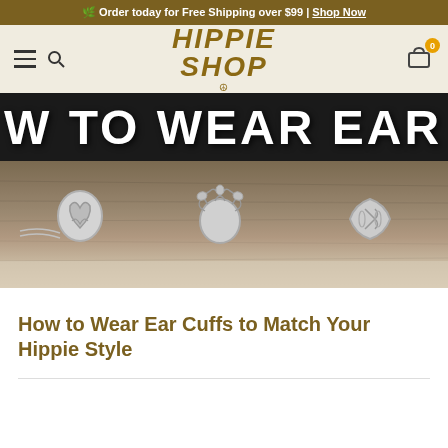🌿 Order today for Free Shipping over $99 | Shop Now
[Figure (logo): Hippie Shop logo with hamburger menu and search icon on left, shopping cart with 0 badge on right]
[Figure (photo): Hero image showing ear cuffs — silver jewelry pieces with leaf and vine designs displayed on a wooden surface. Overlaid text reads 'W TO WEAR EAR CU' (partial, cropped) in white bold lettering on dark background.]
How to Wear Ear Cuffs to Match Your Hippie Style